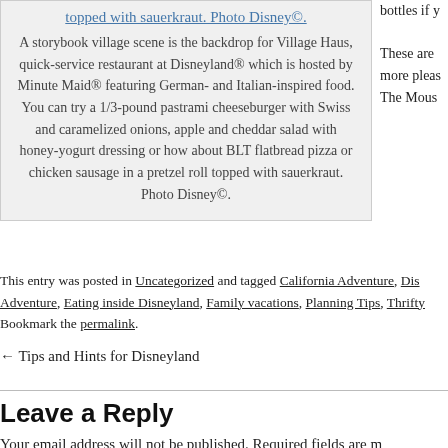topped with sauerkraut. Photo Disney©. A storybook village scene is the backdrop for Village Haus, quick-service restaurant at Disneyland® which is hosted by Minute Maid® featuring German- and Italian-inspired food. You can try a 1/3-pound pastrami cheeseburger with Swiss and caramelized onions, apple and cheddar salad with honey-yogurt dressing or how about BLT flatbread pizza or chicken sausage in a pretzel roll topped with sauerkraut. Photo Disney©.
This entry was posted in Uncategorized and tagged California Adventure, Dis Adventure, Eating inside Disneyland, Family vacations, Planning Tips, Thrifty. Bookmark the permalink.
← Tips and Hints for Disneyland
Leave a Reply
Your email address will not be published. Required fields are m
Comment